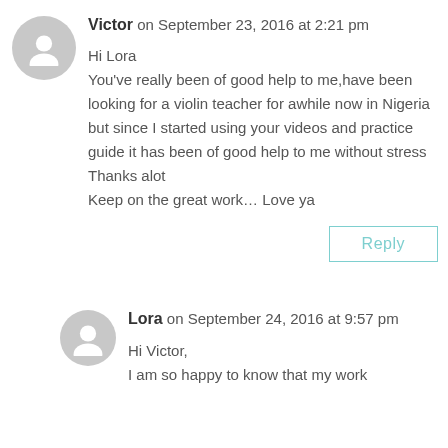Victor on September 23, 2016 at 2:21 pm
Hi Lora
You've really been of good help to me,have been looking for a violin teacher for awhile now in Nigeria but since I started using your videos and practice guide it has been of good help to me without stress
Thanks alot
Keep on the great work… Love ya
Reply
Lora on September 24, 2016 at 9:57 pm
Hi Victor,
I am so happy to know that my work